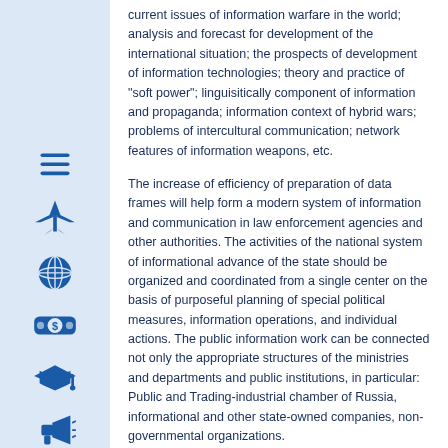current issues of information warfare in the world; analysis and forecast for development of the international situation; the prospects of development of information technologies; theory and practice of "soft power"; linguisitically component of information and propaganda; information context of hybrid wars; problems of intercultural communication; network features of information weapons, etc.
The increase of efficiency of preparation of data frames will help form a modern system of information and communication in law enforcement agencies and other authorities. The activities of the national system of informational advance of the state should be organized and coordinated from a single center on the basis of purposeful planning of special political measures, information operations, and individual actions. The public information work can be connected not only the appropriate structures of the ministries and departments and public institutions, in particular: Public and Trading-industrial chamber of Russia, informational and other state-owned companies, non-governmental organizations.
A special place in the national system of "soft power" is given to the